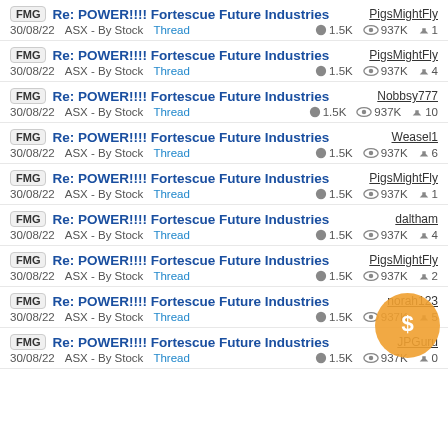FMG Re: POWER!!!! Fortescue Future Industries | PigsMightFly | 30/08/22 ASX - By Stock Thread 1.5K 937K 1
FMG Re: POWER!!!! Fortescue Future Industries | PigsMightFly | 30/08/22 ASX - By Stock Thread 1.5K 937K 4
FMG Re: POWER!!!! Fortescue Future Industries | Nobbsy777 | 30/08/22 ASX - By Stock Thread 1.5K 937K 10
FMG Re: POWER!!!! Fortescue Future Industries | Weasel1 | 30/08/22 ASX - By Stock Thread 1.5K 937K 6
FMG Re: POWER!!!! Fortescue Future Industries | PigsMightFly | 30/08/22 ASX - By Stock Thread 1.5K 937K 1
FMG Re: POWER!!!! Fortescue Future Industries | daltham | 30/08/22 ASX - By Stock Thread 1.5K 937K 4
FMG Re: POWER!!!! Fortescue Future Industries | PigsMightFly | 30/08/22 ASX - By Stock Thread 1.5K 937K 2
FMG Re: POWER!!!! Fortescue Future Industries | norah123 | 30/08/22 ASX - By Stock Thread 1.5K 937K 5
FMG Re: POWER!!!! Fortescue Future Industries | JPGuru | 30/08/22 ASX - By Stock Thread 1.5K 937K 0